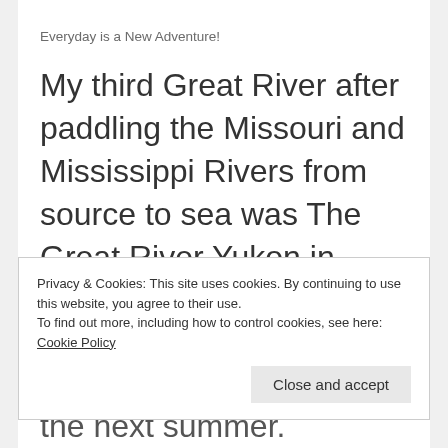Everyday is a New Adventure!
My third Great River after paddling the Missouri and Mississippi Rivers from source to sea was The Great River Yukon in 2017, thus completing the three longest rivers on the North
Privacy & Cookies: This site uses cookies. By continuing to use this website, you agree to their use.
To find out more, including how to control cookies, see here:
Cookie Policy
Close and accept
the next summer.